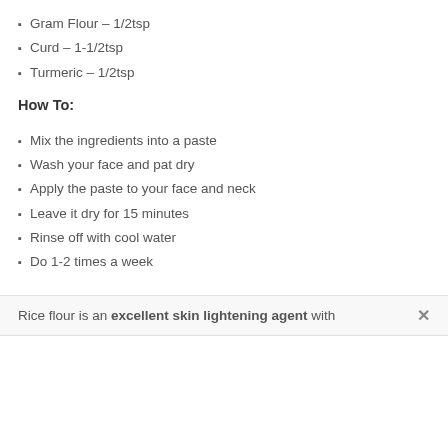Gram Flour – 1/2tsp
Curd – 1-1/2tsp
Turmeric – 1/2tsp
How To:
Mix the ingredients into a paste
Wash your face and pat dry
Apply the paste to your face and neck
Leave it dry for 15 minutes
Rinse off with cool water
Do 1-2 times a week
Rice flour is an excellent skin lightening agent with